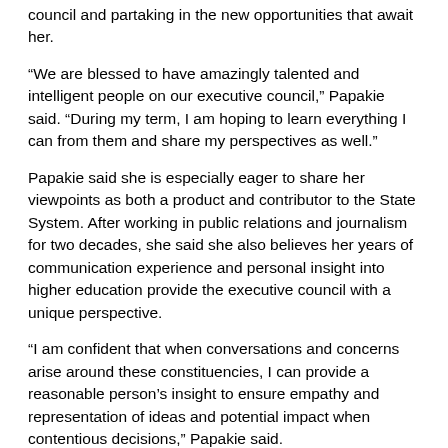council and partaking in the new opportunities that await her.
“We are blessed to have amazingly talented and intelligent people on our executive council,” Papakie said. “During my term, I am hoping to learn everything I can from them and share my perspectives as well.”
Papakie said she is especially eager to share her viewpoints as both a product and contributor to the State System. After working in public relations and journalism for two decades, she said she also believes her years of communication experience and personal insight into higher education provide the executive council with a unique perspective.
“I am confident that when conversations and concerns arise around these constituencies, I can provide a reasonable person’s insight to ensure empathy and representation of ideas and potential impact when contentious decisions,” Papakie said.